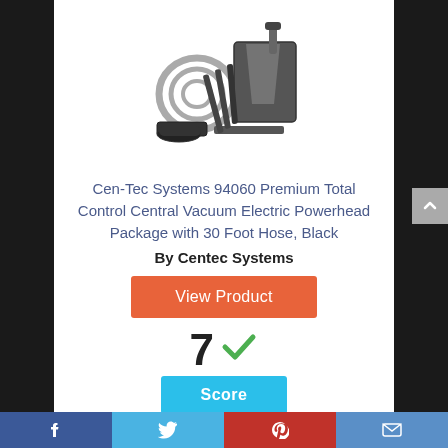[Figure (photo): Central vacuum system kit with hose, powerhead, and accessories shown in black and grey]
Cen-Tec Systems 94060 Premium Total Control Central Vacuum Electric Powerhead Package with 30 Foot Hose, Black
By Centec Systems
View Product
7 ✓ Score
Facebook | Twitter | Pinterest | Email